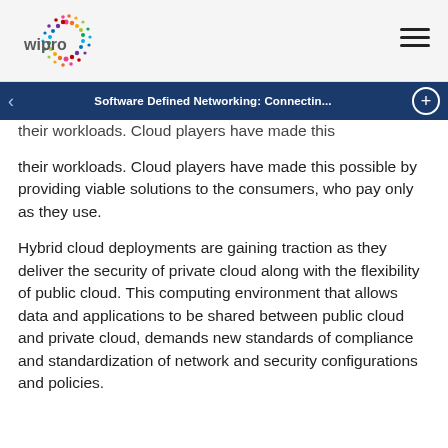Wipro | Software Defined Networking: Connectin...
their workloads. Cloud players have made this possible by providing viable solutions to the consumers, who pay only as they use.
Hybrid cloud deployments are gaining traction as they deliver the security of private cloud along with the flexibility of public cloud. This computing environment that allows data and applications to be shared between public cloud and private cloud, demands new standards of compliance and standardization of network and security configurations and policies.